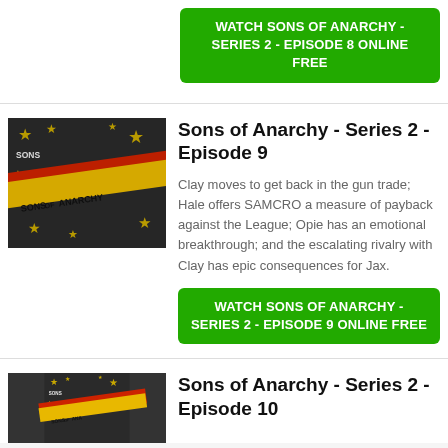WATCH SONS OF ANARCHY - SERIES 2 - EPISODE 8 ONLINE FREE
[Figure (photo): Sons of Anarchy series logo/poster thumbnail image with yellow banner and stars on dark background]
Sons of Anarchy - Series 2 - Episode 9
Clay moves to get back in the gun trade; Hale offers SAMCRO a measure of payback against the League; Opie has an emotional breakthrough; and the escalating rivalry with Clay has epic consequences for Jax.
WATCH SONS OF ANARCHY - SERIES 2 - EPISODE 9 ONLINE FREE
[Figure (photo): Sons of Anarchy series logo/poster thumbnail image with yellow banner and stars on dark background]
Sons of Anarchy - Series 2 - Episode 10